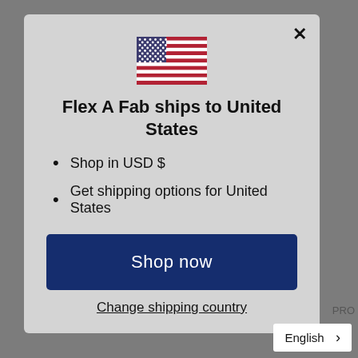[Figure (illustration): US flag icon centered at top of modal dialog]
Flex A Fab ships to United States
Shop in USD $
Get shipping options for United States
Shop now
Change shipping country
English >